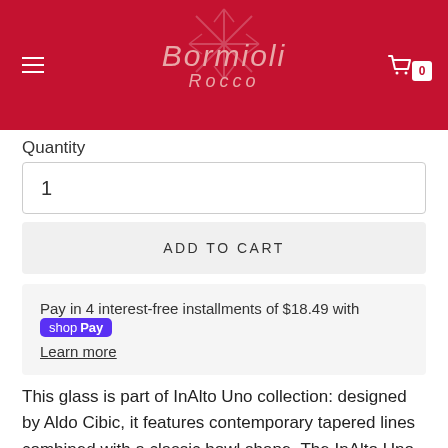Bormioli Rocco
Quantity
1
ADD TO CART
Pay in 4 interest-free installments of $18.49 with Shop Pay
Learn more
This glass is part of InAlto Uno collection: designed by Aldo Cibic, it features contemporary tapered lines combined with a classic bowl shape. The InAlto Uno Flute highlights a perfect balance of proportions in combination with an exceptional